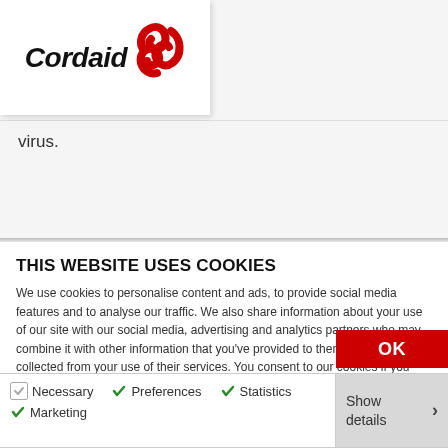[Figure (logo): Cordaid logo with red swirl icon and italic bold text]
virus.
THIS WEBSITE USES COOKIES
We use cookies to personalise content and ads, to provide social media features and to analyse our traffic. We also share information about your use of our site with our social media, advertising and analytics partners who may combine it with other information that you've provided to them or that they've collected from your use of their services. You consent to our cookies if you continue to use our website.
OK
Necessary  Preferences  Statistics  Marketing  Show details